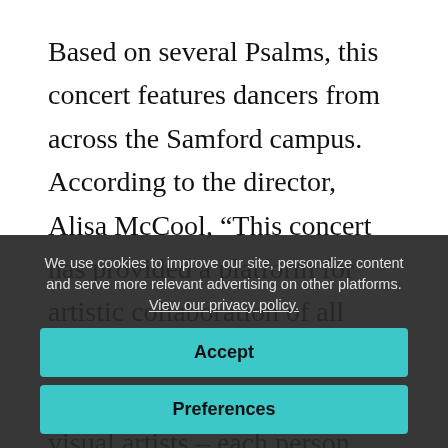Based on several Psalms, this concert features dancers from across the Samford campus. According to the director, Alisa McCool, “This concert has provided a platform for artistic collaboration of all kinds. From dancers to choreographers to musicians to visual artists – each person involved in tonight’s performance has contributed his or her gifts and talents to the
We use cookies to improve our site, personalize content and serve more relevant advertising on other platforms. View our privacy policy.
Accept
Preferences